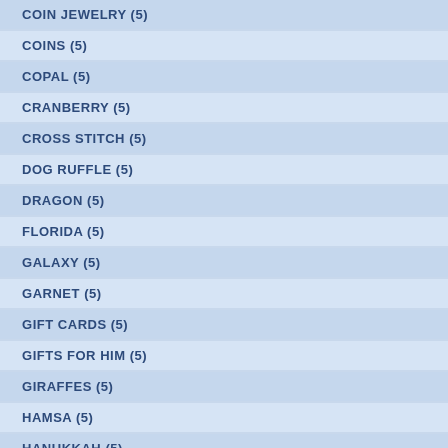COIN JEWELRY (5)
COINS (5)
COPAL (5)
CRANBERRY (5)
CROSS STITCH (5)
DOG RUFFLE (5)
DRAGON (5)
FLORIDA (5)
GALAXY (5)
GARNET (5)
GIFT CARDS (5)
GIFTS FOR HIM (5)
GIRAFFES (5)
HAMSA (5)
HANUKKAH (5)
HEART EARRINGS (5)
HOLIDAY SHOPPING (5)
HOLIDAYS HOLIDAY GIFTS (5)